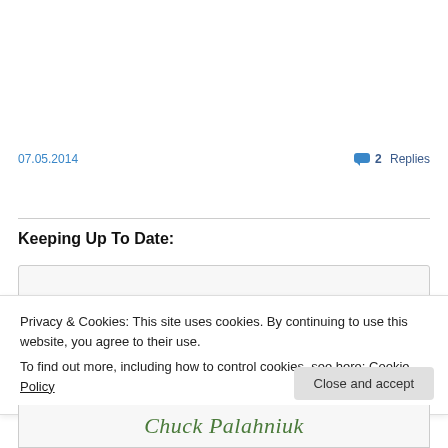07.05.2014
💬 2 Replies
Keeping Up To Date:
Privacy & Cookies: This site uses cookies. By continuing to use this website, you agree to their use.
To find out more, including how to control cookies, see here: Cookie Policy
Close and accept
[Figure (other): Partial view of Chuck Palahniuk book/widget image]